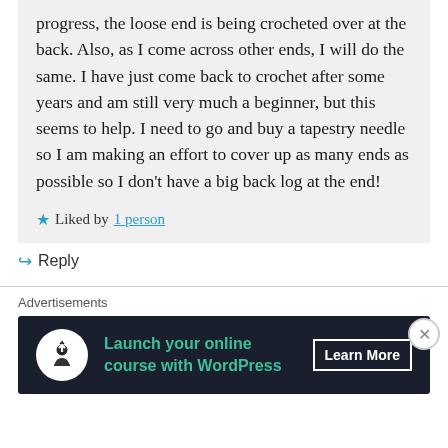progress, the loose end is being crocheted over at the back. Also, as I come across other ends, I will do the same. I have just come back to crochet after some years and am still very much a beginner, but this seems to help. I need to go and buy a tapestry needle so I am making an effort to cover up as many ends as possible so I don't have a big back log at the end!
★ Liked by 1 person
↪ Reply
Advertisements
[Figure (other): Dark navy advertisement banner: circular white logo with person/upload icon on left, teal text 'Launch your online course with WordPress' in center, white 'Learn More' button with border on right.]